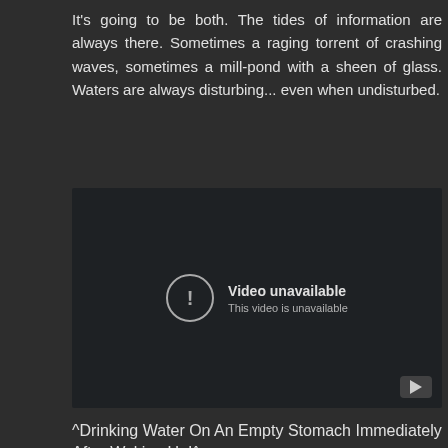It's going to be both. The tides of information are always there. Sometimes a raging torrent of crashing waves, sometimes a mill-pond with a sheen of glass. Waters are always disturbing... even when undisturbed.
[Figure (screenshot): Embedded video player showing 'Video unavailable - This video is unavailable' message with a YouTube play button in the bottom right corner.]
^Drinking Water On An Empty Stomach Immediately After Waking Up!^